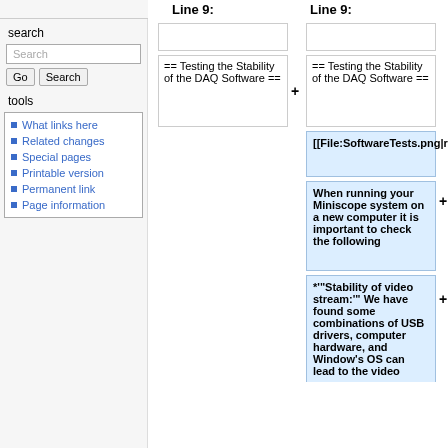search
Search
Go | Search
tools
What links here
Related changes
Special pages
Printable version
Permanent link
Page information
Line 9:
Line 9:
== Testing the Stability of the DAQ Software ==
== Testing the Stability of the DAQ Software ==
[[File:SoftwareTests.png|right|500px]]
When running your Miniscope system on a new computer it is important to check the following
*'"Stability of video stream:'" We have found some combinations of USB drivers, computer hardware, and Window's OS can lead to the video